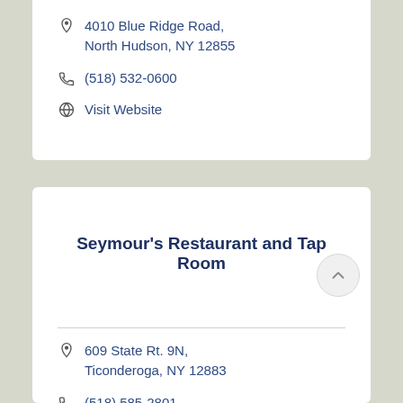4010 Blue Ridge Road, North Hudson, NY 12855
(518) 532-0600
Visit Website
Seymour's Restaurant and Tap Room
609 State Rt. 9N, Ticonderoga, NY 12883
(518) 585-2801